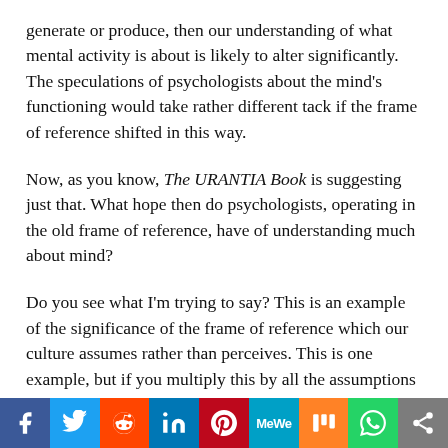generate or produce, then our understanding of what mental activity is about is likely to alter significantly. The speculations of psychologists about the mind's functioning would take rather different tack if the frame of reference shifted in this way.
Now, as you know, The URANTIA Book is suggesting just that. What hope then do psychologists, operating in the old frame of reference, have of understanding much about mind?
Do you see what I'm trying to say? This is an example of the significance of the frame of reference which our culture assumes rather than perceives. This is one example, but if you multiply this by all the assumptions our culture makes about the nature of reality – and they are hard to identify because they are so basic they are
[Figure (infographic): Social media sharing bar with icons: Facebook, Twitter, Reddit, LinkedIn, Pinterest, MeWe, Mix, WhatsApp, Share]